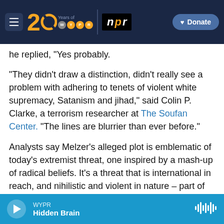[Figure (screenshot): WYPR 20 Years navigation bar with hamburger menu, WYPR 20th anniversary logo, NPR logo, and Donate button on dark navy background]
he replied, "Yes probably."
"They didn't draw a distinction, didn't really see a problem with adhering to tenets of violent white supremacy, Satanism and jihad," said Colin P. Clarke, a terrorism researcher at The Soufan Center. "The lines are blurrier than ever before."
Analysts say Melzer's alleged plot is emblematic of today's extremist threat, one inspired by a mash-up of radical beliefs. It's a threat that is international in reach, and nihilistic and violent in nature – part of the destroy-the-system "accelerationist" vein. One researcher noted that the old left-right terrorism
WYPR — Hidden Brain